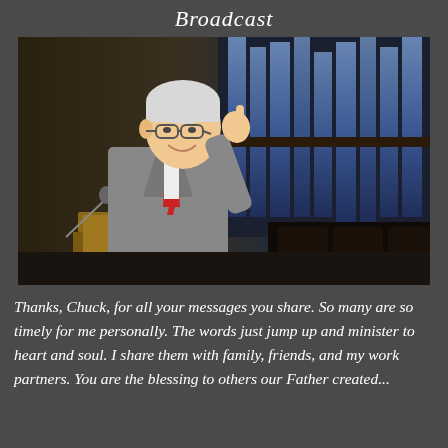Broadcast
[Figure (photo): An elderly man in a grey suit with a red tie stands at a wooden podium, smiling and gesturing with one finger raised, in front of large organ pipes in a church or auditorium setting.]
Thanks, Chuck, for all your messages you share. So many are so timely for me personally. The words just jump up and minister to heart and soul. I share them with family, friends, and my work partners. You are the blessing to others our Father created...